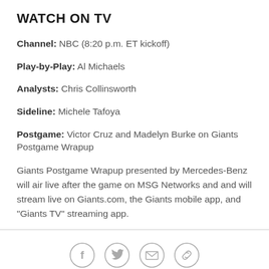WATCH ON TV
Channel: NBC (8:20 p.m. ET kickoff)
Play-by-Play: Al Michaels
Analysts: Chris Collinsworth
Sideline: Michele Tafoya
Postgame: Victor Cruz and Madelyn Burke on Giants Postgame Wrapup
Giants Postgame Wrapup presented by Mercedes-Benz will air live after the game on MSG Networks and and will stream live on Giants.com, the Giants mobile app, and "Giants TV" streaming app.
[Figure (infographic): Social sharing icons: Facebook, Twitter, Email, Link]